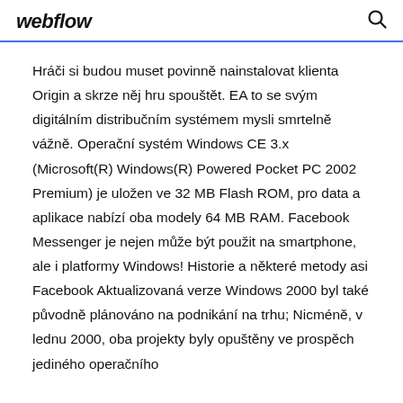webflow
Hráči si budou muset povinně nainstalovat klienta Origin a skrze něj hru spouštět. EA to se svým digitálním distribučním systémem mysli smrtelně vážně. Operační systém Windows CE 3.x (Microsoft(R) Windows(R) Powered Pocket PC 2002 Premium) je uložen ve 32 MB Flash ROM, pro data a aplikace nabízí oba modely 64 MB RAM. Facebook Messenger je nejen může být použit na smartphone, ale i platformy Windows! Historie a některé metody asi Facebook Aktualizovaná verze Windows 2000 byl také původně plánováno na podnikání na trhu; Nicméně, v lednu 2000, oba projekty byly opuštěny ve prospěch jediného operačního